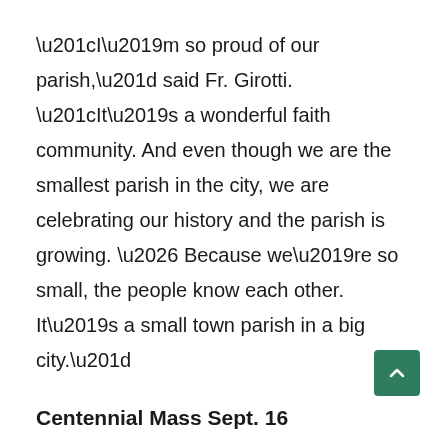“I’m so proud of our parish,” said Fr. Girotti. “It’s a wonderful faith community. And even though we are the smallest parish in the city, we are celebrating our history and the parish is growing. … Because we’re so small, the people know each other. It’s a small town parish in a big city.”
Centennial Mass Sept. 16
Bishop Robert Banks will join the community celebration for a centennial Mass at 10:45 a.m. on Sunday. A group photo on the church steps will be placed in a time capsule. The Boy Scouts will sell food, a descendant of the church’s architect will speak and a cemetery walk will take place, not in